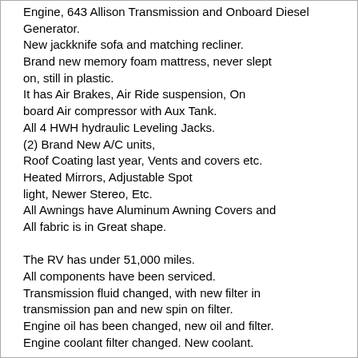Engine, 643 Allison Transmission and Onboard Diesel Generator.
New jackknife sofa and matching recliner.
Brand new memory foam mattress, never slept on, still in plastic.
It has Air Brakes, Air Ride suspension, On board Air compressor with Aux Tank.
All 4 HWH hydraulic Leveling Jacks.
(2) Brand New A/C units,
Roof Coating last year, Vents and covers etc.
Heated Mirrors, Adjustable Spot light, Newer Stereo, Etc.
All Awnings have Aluminum Awning Covers and All fabric is in Great shape.

The RV has under 51,000 miles.
All components have been serviced.
Transmission fluid changed, with new filter in transmission pan and new spin on filter.
Engine oil has been changed, new oil and filter.
Engine coolant filter changed. New coolant.
New fuel filter.
Batteries replaced last year.
Generator has had all fluids changed, new oil and fuel filter, new glow plugs.
We updated several of the gauges with new Auto Meter gauges.